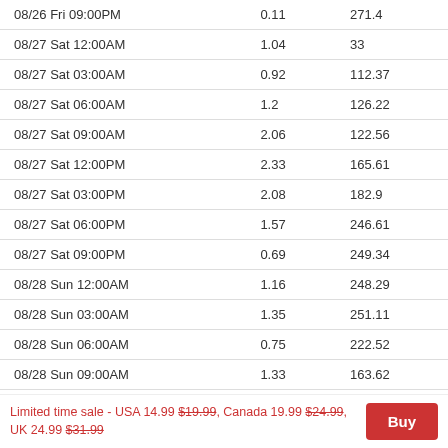| Date/Time | Col2 | Col3 |
| --- | --- | --- |
| 08/26 Fri 09:00PM | 0.11 | 271.4 |
| 08/27 Sat 12:00AM | 1.04 | 33 |
| 08/27 Sat 03:00AM | 0.92 | 112.37 |
| 08/27 Sat 06:00AM | 1.2 | 126.22 |
| 08/27 Sat 09:00AM | 2.06 | 122.56 |
| 08/27 Sat 12:00PM | 2.33 | 165.61 |
| 08/27 Sat 03:00PM | 2.08 | 182.9 |
| 08/27 Sat 06:00PM | 1.57 | 246.61 |
| 08/27 Sat 09:00PM | 0.69 | 249.34 |
| 08/28 Sun 12:00AM | 1.16 | 248.29 |
| 08/28 Sun 03:00AM | 1.35 | 251.11 |
| 08/28 Sun 06:00AM | 0.75 | 222.52 |
| 08/28 Sun 09:00AM | 1.33 | 163.62 |
Limited time sale - USA 14.99 $19.99, Canada 19.99 $24.99, UK 24.99 $31.99